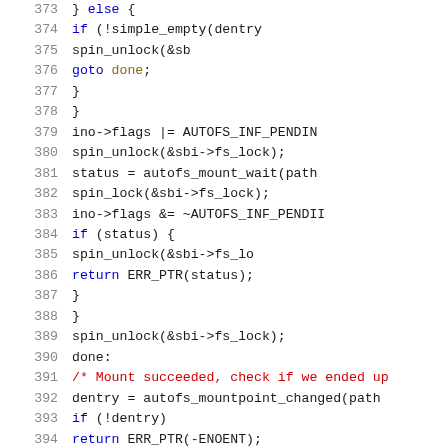[Figure (screenshot): Source code listing showing lines 373-394 of a C kernel file (autofs), with syntax highlighting. Line numbers in grey on left, keywords in blue, comments in red, labels in default color.]